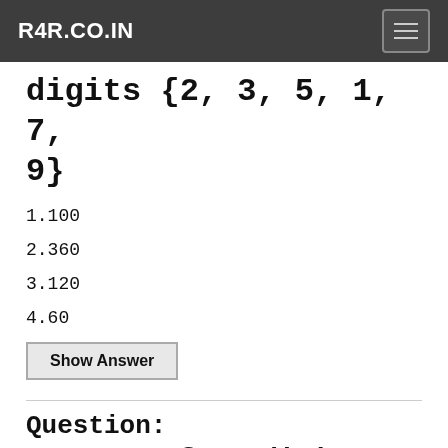R4R.CO.IN
digits {2, 3, 5, 1, 7, 9}
1.100
2.360
3.120
4.60
Show Answer
Question:
How many four digit numbers can be formed